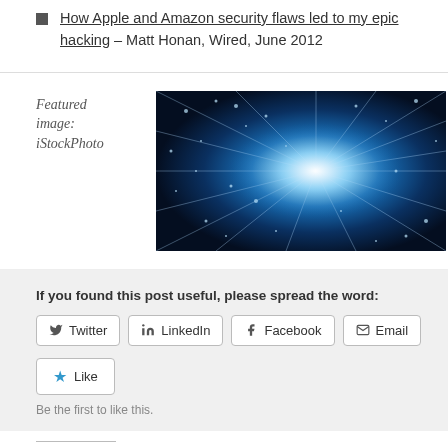How Apple and Amazon security flaws led to my epic hacking – Matt Honan, Wired, June 2012
Featured image: iStockPhoto
[Figure (photo): Abstract fiber optic light burst with blue glowing particles, iStockPhoto]
If you found this post useful, please spread the word:
Twitter | LinkedIn | Facebook | Email
Like
Be the first to like this.
Related